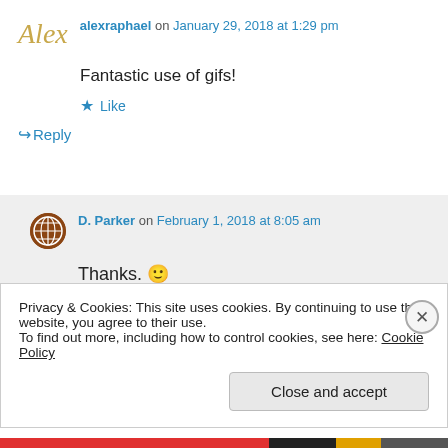Alex
alexraphael on January 29, 2018 at 1:29 pm
Fantastic use of gifs!
★ Like
↪ Reply
[Figure (illustration): User avatar icon for D. Parker - circular icon with a grid/globe pattern]
D. Parker on February 1, 2018 at 8:05 am
Thanks. 🙂
Privacy & Cookies: This site uses cookies. By continuing to use this website, you agree to their use.
To find out more, including how to control cookies, see here: Cookie Policy
Close and accept